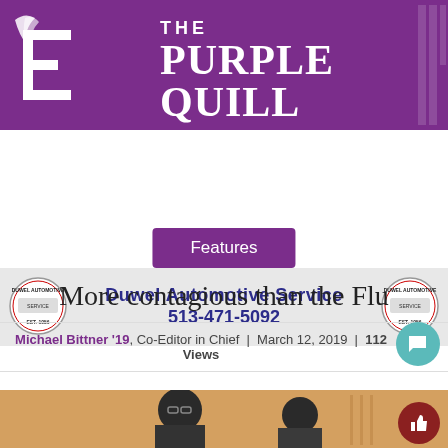[Figure (logo): The Purple Quill newspaper logo — large purple 'E' with quill feather on left, 'THE PURPLE QUILL' text on right, white text on purple background]
[Figure (infographic): Duwel Automotive Service advertisement banner with circular logo badges on each side, blue text reading 'Duwel Automotive Service 513-471-5092' on grey background]
Features
More contagious than the Flu
Michael Bittner '19, Co-Editor in Chief | March 12, 2019 | 112 Views
[Figure (photo): Partial photo showing students in what appears to be a school setting, orange/warm toned background]